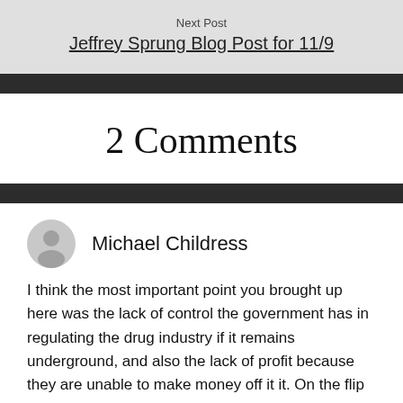Next Post
Jeffrey Sprung Blog Post for 11/9
2 Comments
Michael Childress
I think the most important point you brought up here was the lack of control the government has in regulating the drug industry if it remains underground, and also the lack of profit because they are unable to make money off it it. On the flip side though, I do